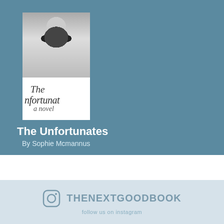[Figure (photo): Book cover of 'The Unfortunates' showing a black-and-white photo of a person holding binoculars over their face, wearing a pearl necklace, with white lower section showing italic script title text: 'The Unfortunates, a novel']
The Unfortunates
By Sophie Mcmannus
[Figure (logo): Instagram icon circle with rounded square and dot, followed by the text THENEXTGOODBOOK]
THENEXTGOODBOOK
follow us on instagram